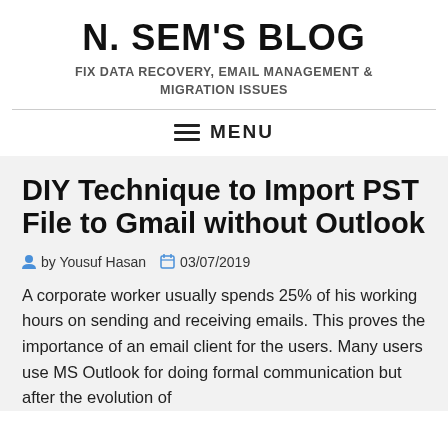N. SEM'S BLOG
FIX DATA RECOVERY, EMAIL MANAGEMENT & MIGRATION ISSUES
MENU
DIY Technique to Import PST File to Gmail without Outlook
by Yousuf Hasan  03/07/2019
A corporate worker usually spends 25% of his working hours on sending and receiving emails. This proves the importance of an email client for the users. Many users use MS Outlook for doing formal communication but after the evolution of